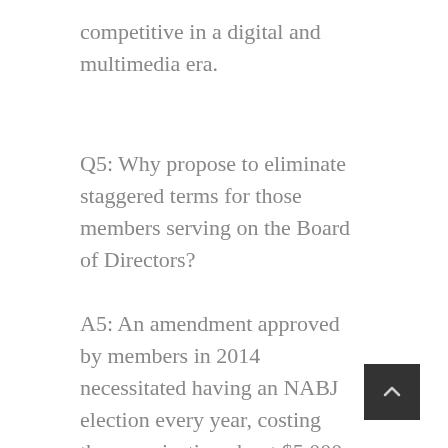competitive in a digital and multimedia era.
Q5: Why propose to eliminate staggered terms for those members serving on the Board of Directors?
A5: An amendment approved by members in 2014 necessitated having an NABJ election every year, costing the organization about $5,000 annually, plus added manpower by the National Office